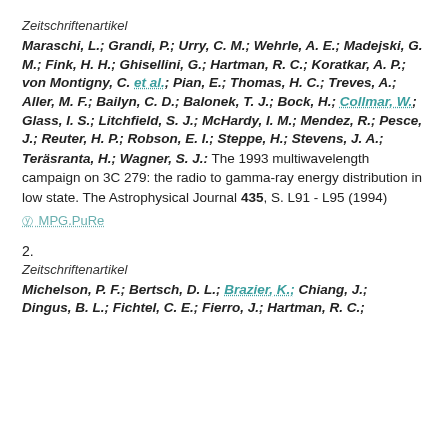Zeitschriftenartikel
Maraschi, L.; Grandi, P.; Urry, C. M.; Wehrle, A. E.; Madejski, G. M.; Fink, H. H.; Ghisellini, G.; Hartman, R. C.; Koratkar, A. P.; von Montigny, C. et al.; Pian, E.; Thomas, H. C.; Treves, A.; Aller, M. F.; Bailyn, C. D.; Balonek, T. J.; Bock, H.; Collmar, W.; Glass, I. S.; Litchfield, S. J.; McHardy, I. M.; Mendez, R.; Pesce, J.; Reuter, H. P.; Robson, E. I.; Steppe, H.; Stevens, J. A.; Teräsranta, H.; Wagner, S. J.: The 1993 multiwavelength campaign on 3C 279: the radio to gamma-ray energy distribution in low state. The Astrophysical Journal 435, S. L91 - L95 (1994)
MPG.PuRe
2.
Zeitschriftenartikel
Michelson, P. F.; Bertsch, D. L.; Brazier, K.; Chiang, J.; Dingus, B. L.; Fichtel, C. E.; Fierro, J.; Hartman, R. C.;